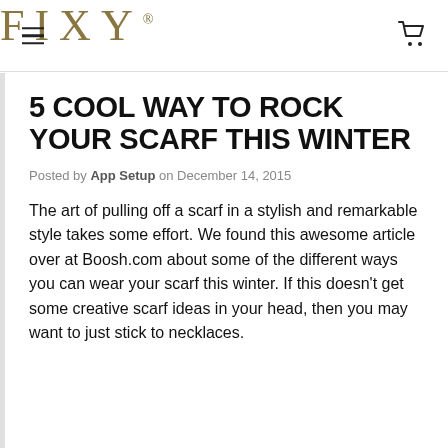FIXY
5 COOL WAY TO ROCK YOUR SCARF THIS WINTER
Posted by App Setup on December 14, 2015
The art of pulling off a scarf in a stylish and remarkable style takes some effort. We found this awesome article over at Boosh.com about some of the different ways you can wear your scarf this winter. If this doesn't get some creative scarf ideas in your head, then you may want to just stick to necklaces.